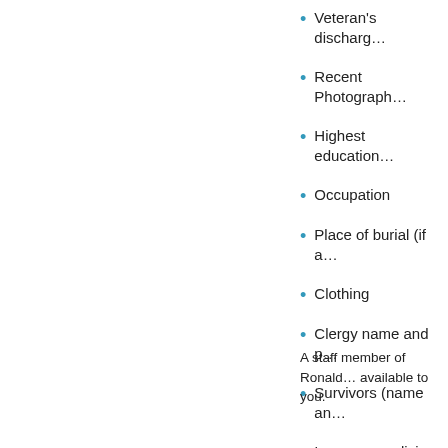Veteran's discharg…
Recent Photograph…
Highest education…
Occupation
Place of burial (if a…
Clothing
Clergy name and p…
Survivors (name an…
Insurance policies
A staff member of Ronald… available to you.